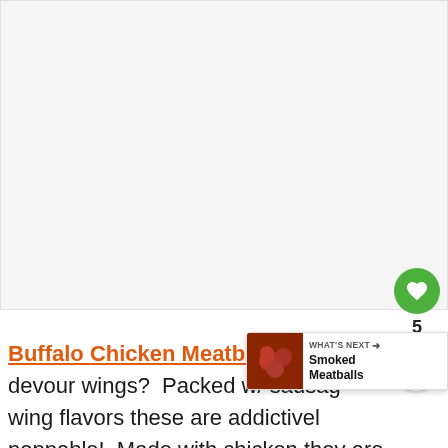[Figure (photo): Large white/light gray image area, appears to be a food photo placeholder or partially loaded image]
Buffalo Chicken Meatballs – do your kids devour wings?  Packed w/ sausage, & wing flavors these are addictively, poppable!  Made with chicken they are
[Figure (photo): Small circular thumbnail showing what appears to be Smoked Meatballs, part of a 'What's Next' recommendation widget]